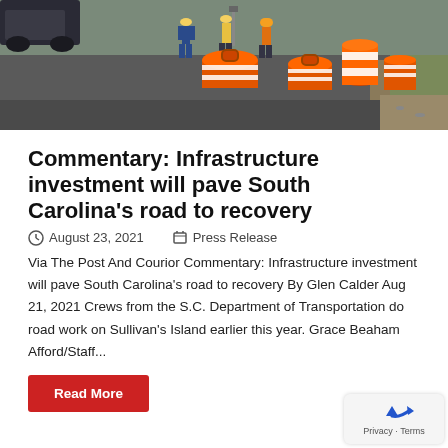[Figure (photo): Road construction workers with orange safety barrels/cones on a road, with a vehicle in the background]
Commentary: Infrastructure investment will pave South Carolina's road to recovery
August 23, 2021   Press Release
Via The Post And Courior Commentary: Infrastructure investment will pave South Carolina's road to recovery By Glen Calder Aug 21, 2021 Crews from the S.C. Department of Transportation do road work on Sullivan's Island earlier this year. Grace Beaham Afford/Staff...
Read More